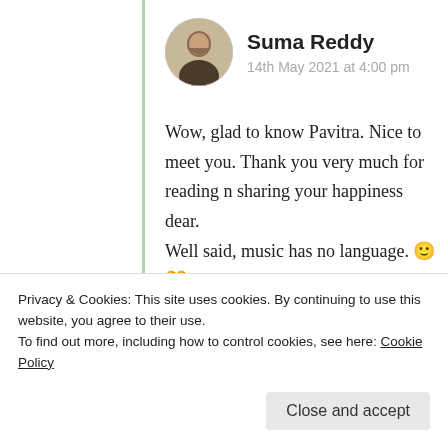[Figure (photo): Circular avatar photo of Suma Reddy]
Suma Reddy
14th May 2021 at 4:00 pm
Wow, glad to know Pavitra. Nice to meet you. Thank you very much for reading n sharing your happiness dear. Well said, music has no language. 🙂 🧡
★ Liked by 1 person
Log in to Reply
Privacy & Cookies: This site uses cookies. By continuing to use this website, you agree to their use.
To find out more, including how to control cookies, see here: Cookie Policy
Close and accept